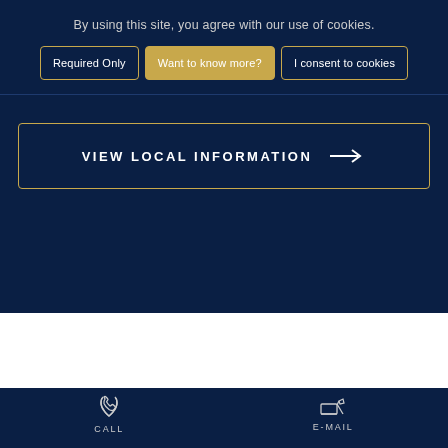By using this site, you agree with our use of cookies.
Required Only
Want to know more?
I consent to cookies
VIEW LOCAL INFORMATION →
CALL
E-MAIL